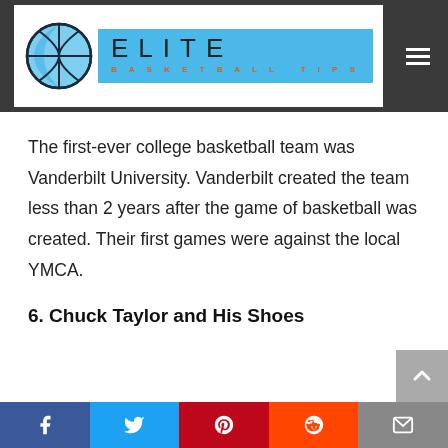Elite Basketball Tips — logo and navigation header
The first-ever college basketball team was Vanderbilt University. Vanderbilt created the team less than 2 years after the game of basketball was created. Their first games were against the local YMCA.
6. Chuck Taylor and His Shoes
Social share bar: Facebook, Twitter, Pinterest, Reddit, Email